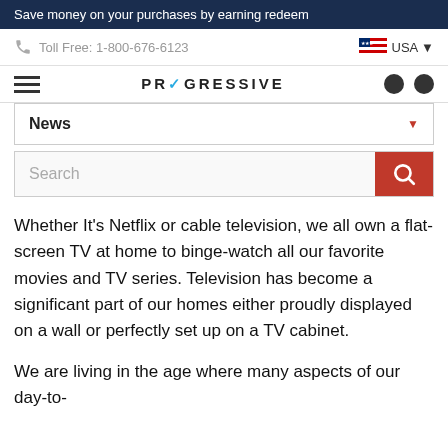Save money on your purchases by earning redeem
Toll Free: 1-800-676-6123
USA
[Figure (screenshot): Navigation bar with Progressive logo and hamburger menu icons]
News
Search
Whether It’s Netflix or cable television, we all own a flat-screen TV at home to binge-watch all our favorite movies and TV series. Television has become a significant part of our homes either proudly displayed on a wall or perfectly set up on a TV cabinet.
We are living in the age where many aspects of our day-to-